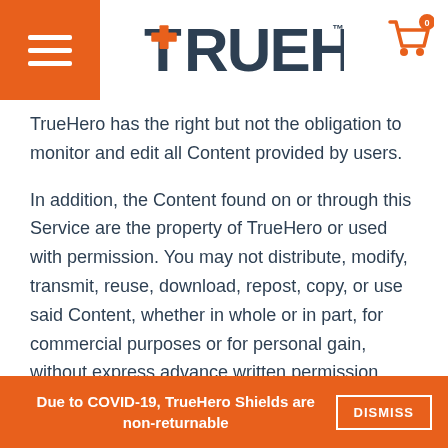[Figure (logo): TrueHero logo with orange cross-plus in the T, dark blue TRUEHERO text, and trademark symbol]
TrueHero has the right but not the obligation to monitor and edit all Content provided by users.
In addition, the Content found on or through this Service are the property of TrueHero or used with permission. You may not distribute, modify, transmit, reuse, download, repost, copy, or use said Content, whether in whole or in part, for commercial purposes or for personal gain, without express advance written permission from us.
Accounts
Due to COVID-19, TrueHero Shields are non-returnable